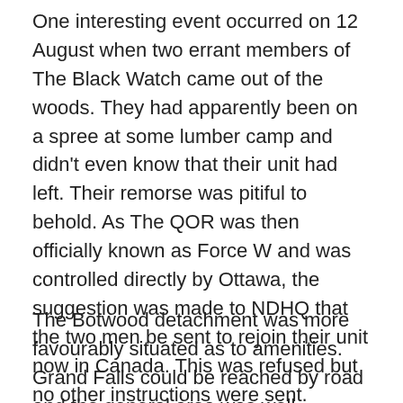One interesting event occurred on 12 August when two errant members of The Black Watch came out of the woods. They had apparently been on a spree at some lumber camp and didn't even know that their unit had left. Their remorse was pitiful to behold. As The QOR was then officially known as Force W and was controlled directly by Ottawa, the suggestion was made to NDHQ that the two men be sent to rejoin their unit now in Canada. This was refused but no other instructions were sent. Finally, after two or three weeks, The Queen's Own were ordered to take them on strength. This was done and the two finally went overseas with the battalion.
The Botwood detachment was more favourably situated as to amenities. Grand Falls could be reached by road and the general area was well populated. One of the detachment's duties was